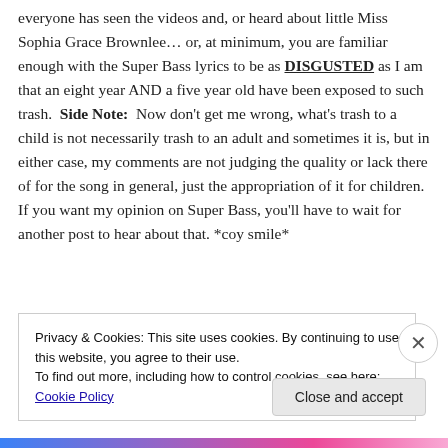everyone has seen the videos and, or heard about little Miss Sophia Grace Brownlee… or, at minimum, you are familiar enough with the Super Bass lyrics to be as DISGUSTED as I am that an eight year AND a five year old have been exposed to such trash.  Side Note:  Now don't get me wrong, what's trash to a child is not necessarily trash to an adult and sometimes it is, but in either case, my comments are not judging the quality or lack there of for the song in general, just the appropriation of it for children. If you want my opinion on Super Bass, you'll have to wait for another post to hear about that. *coy smile*
Cha sing, I there done digit the lin   old it bela f
Privacy & Cookies: This site uses cookies. By continuing to use this website, you agree to their use.
To find out more, including how to control cookies, see here: Cookie Policy
Close and accept